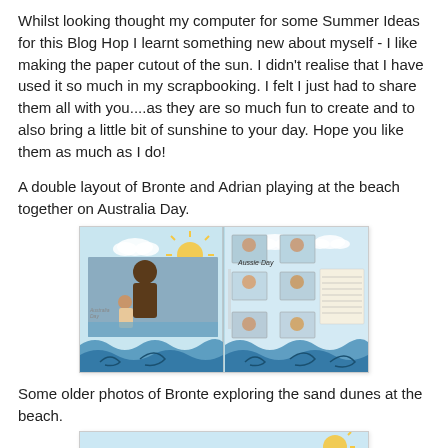Whilst looking thought my computer for some Summer Ideas for this Blog Hop I learnt something new about myself - I like making the paper cutout of the sun. I didn't realise that I have used it so much in my scrapbooking. I felt I just had to share them all with you....as they are so much fun to create and to also bring a little bit of sunshine to your day. Hope you like them as much as I do!
A double layout of Bronte and Adrian playing at the beach together on Australia Day.
[Figure (photo): A scrapbook double-page layout featuring photos of two people (Bronte and Adrian) playing at the beach on Australia Day. The layout includes decorative paper cutouts of the sun, clouds, and blue wave designs along the bottom. Multiple photos are arranged across the two pages.]
Some older photos of Bronte exploring the sand dunes at the beach.
[Figure (photo): Partially visible scrapbook layout showing sand dunes at the beach, with a sun paper cutout visible in the upper right corner.]